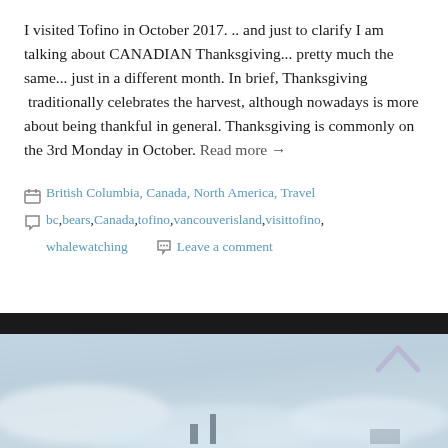I visited Tofino in October 2017. .. and just to clarify I am talking about CANADIAN Thanksgiving... pretty much the same... just in a different month. In brief, Thanksgiving traditionally celebrates the harvest, although nowadays is more about being thankful in general. Thanksgiving is commonly on the 3rd Monday in October. Read more →
British Columbia, Canada, North America, Travel
bc, bears, Canada, tofino, vancouverisland, visittofino, whalewatching
Leave a comment
[Figure (photo): A misty/cloudy sky and horizon photo with a dark navigation band and purple chevron arrow at top right]